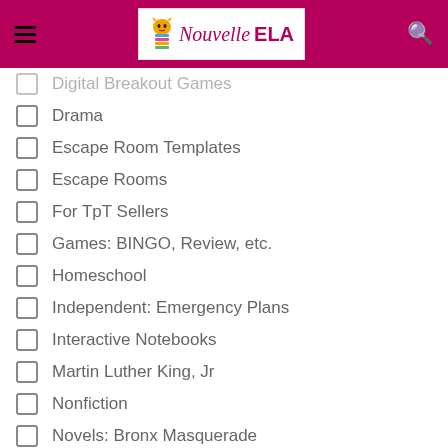Nouvelle ELA
Digital Breakout Games
Drama
Escape Room Templates
Escape Rooms
For TpT Sellers
Games: BINGO, Review, etc.
Homeschool
Independent: Emergency Plans
Interactive Notebooks
Martin Luther King, Jr
Nonfiction
Novels: Bronx Masquerade
Novels: The Pearl
Novels: Tom Sawyer